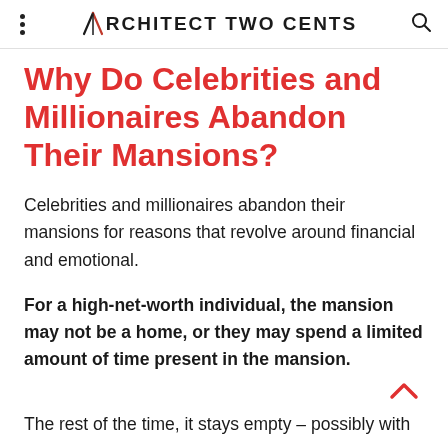ARCHITECT TWO CENTS
Why Do Celebrities and Millionaires Abandon Their Mansions?
Celebrities and millionaires abandon their mansions for reasons that revolve around financial and emotional.
For a high-net-worth individual, the mansion may not be a home, or they may spend a limited amount of time present in the mansion.
The rest of the time, it stays empty – possibly with